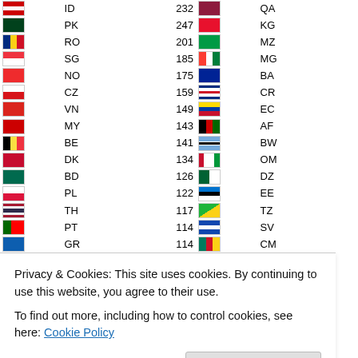| Flag | Code | Count | Flag | Code | Count |
| --- | --- | --- | --- | --- | --- |
| ID | 232 | QA | 7 |
| PK | 247 | KG | 7 |
| RO | 201 | MZ | 7 |
| SG | 185 | MG | 7 |
| NO | 175 | BA | 6 |
| CZ | 159 | CR | 6 |
| VN | 149 | EC | 6 |
| MY | 143 | AF | 6 |
| BE | 141 | BW | 6 |
| DK | 134 | OM | 6 |
| BD | 126 | DZ | 6 |
| PL | 122 | EE | 5 |
| TH | 117 | TZ | 5 |
| PT | 114 | SV | 5 |
| GR | 114 | CM | 5 |
| UA | 98 | KN | 5 |
| TR | 95 | CY | 5 |
| HR | 86 | IM | 4 |
| EG | 85 | CV | 4 |
| SA | 84 | MN | 4 |
| KE | 78 | MD | 3 |
| MX | 77 | UY | 3 |
| LK | 37 | BO | 2 |
Privacy & Cookies: This site uses cookies. By continuing to use this website, you agree to their use.
To find out more, including how to control cookies, see here: Cookie Policy
Close and accept